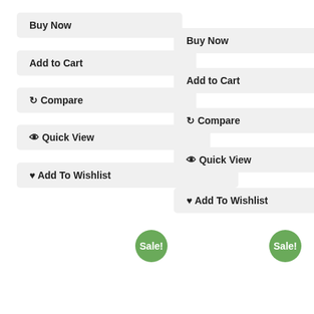[Figure (screenshot): UI component showing two columns of e-commerce action buttons (Buy Now, Add to Cart, Compare, Quick View, Add To Wishlist) and two Sale! badge circles below]
Buy Now
Add to Cart
⟳ Compare
👁 Quick View
♥ Add To Wishlist
Buy Now
Add to Cart
⟳ Compare
👁 Quick View
♥ Add To Wishlist
Sale!
Sale!